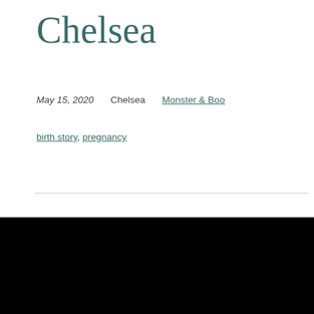Chelsea
May 15, 2020   Chelsea   Monster & Boo
birth story, pregnancy
[Figure (logo): The Samhain Society logo — circular badge with spider web and stylized text on black background]
Social media icons: Instagram, YouTube, Twitter, TikTok